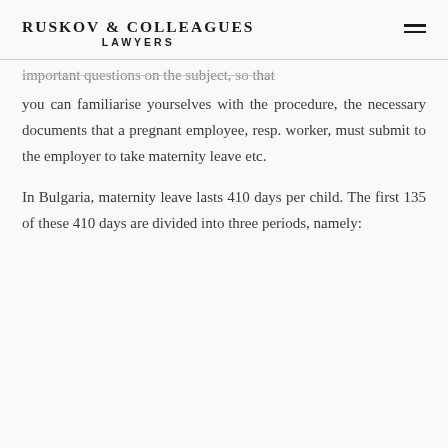Ruskov & Colleagues Lawyers
important questions on the subject, so that you can familiarise yourselves with the procedure, the necessary documents that a pregnant employee, resp. worker, must submit to the employer to take maternity leave etc.
In Bulgaria, maternity leave lasts 410 days per child. The first 135 of these 410 days are divided into three periods, namely: